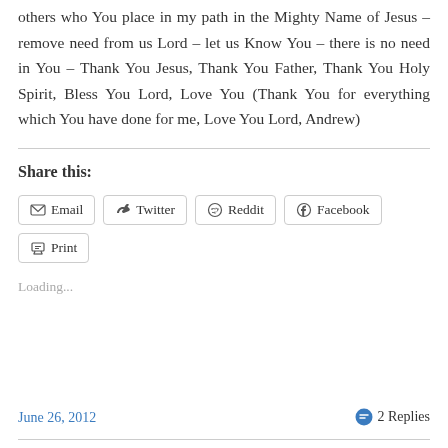others who You place in my path in the Mighty Name of Jesus – remove need from us Lord – let us Know You – there is no need in You – Thank You Jesus, Thank You Father, Thank You Holy Spirit, Bless You Lord, Love You (Thank You for everything which You have done for me, Love You Lord, Andrew)
Share this:
Email  Twitter  Reddit  Facebook  Print
Loading...
June 26, 2012
2 Replies